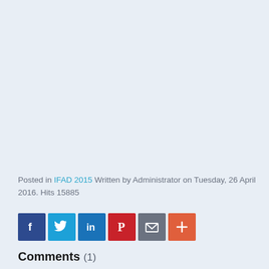Posted in IFAD 2015 Written by Administrator on Tuesday, 26 April 2016. Hits 15885
[Figure (infographic): Social sharing icon buttons: Facebook (blue), Twitter (light blue), LinkedIn (blue), Pinterest (red), Email (gray), More/Plus (orange-red)]
Comments (1)